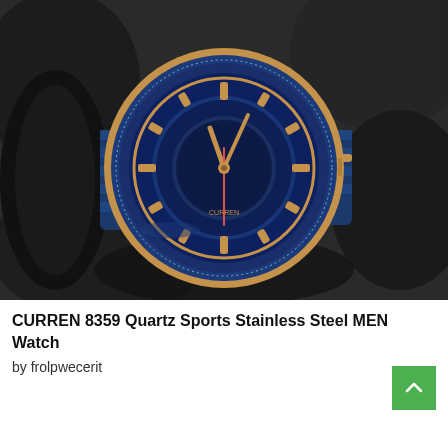[Figure (photo): Product photo of a CURREN 8359 men's quartz sports watch with a blue and rose-gold design. The watch has a deep blue stainless steel bracelet, rose-gold case, and a multi-layered blue dial with rose-gold indices and hands. It is displayed on a dark reflective surface against a dark grey background.]
CURREN 8359 Quartz Sports Stainless Steel MEN Watch
by frolpwecerit